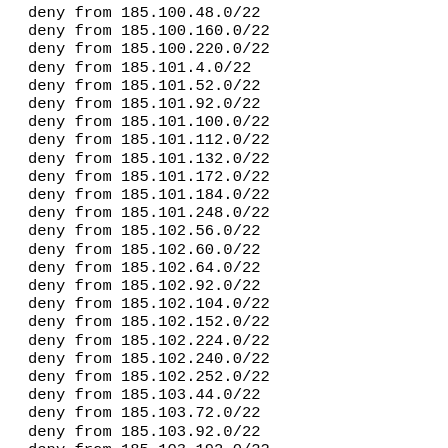deny from 185.100.48.0/22
deny from 185.100.160.0/22
deny from 185.100.220.0/22
deny from 185.101.4.0/22
deny from 185.101.52.0/22
deny from 185.101.92.0/22
deny from 185.101.100.0/22
deny from 185.101.112.0/22
deny from 185.101.132.0/22
deny from 185.101.172.0/22
deny from 185.101.184.0/22
deny from 185.101.248.0/22
deny from 185.102.56.0/22
deny from 185.102.60.0/22
deny from 185.102.64.0/22
deny from 185.102.92.0/22
deny from 185.102.104.0/22
deny from 185.102.152.0/22
deny from 185.102.224.0/22
deny from 185.102.240.0/22
deny from 185.102.252.0/22
deny from 185.103.44.0/22
deny from 185.103.72.0/22
deny from 185.103.92.0/22
deny from 185.103.192.0/22
deny from 185.103.224.0/22
deny from 185.103.232.0/22
deny from 185.104.72.0/22
deny from 185.104.88.0/22
deny from 185.104.140.0/22
deny from 185.104.160.0/22